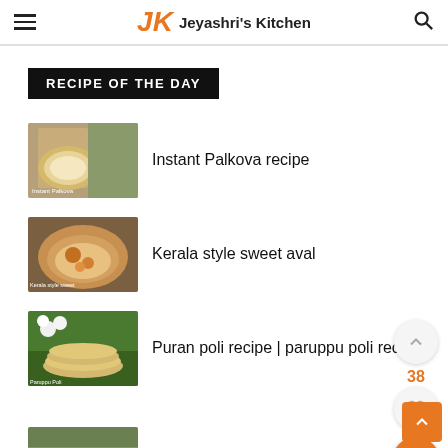JK Jeyashri's Kitchen
RECIPE OF THE DAY
[Figure (photo): Thumbnail of Instant Palkova recipe - a sweet milk dessert in a metal bowl]
Instant Palkova recipe
[Figure (photo): Thumbnail of Kerala style sweet aval - poha sweet dish in a plate]
Kerala style sweet aval
[Figure (photo): Thumbnail of Puran poli recipe - flat bread stack on a banana leaf]
Puran poli recipe | paruppu poli recipe
[Figure (photo): Thumbnail of a fourth recipe partially visible at bottom]